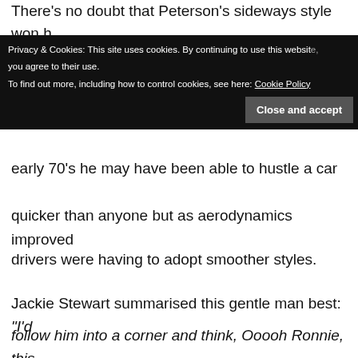There's no doubt that Peterson's sideways style won h[im great adulation but in the early 70's he may have been able to hustle a car quicker than anyone but as aerodynamics improved drivers were having to adopt smoother styles.
Privacy & Cookies: This site uses cookies. By continuing to use this website, you agree to their use. To find out more, including how to control cookies, see here: Cookie Policy
Close and accept
Jackie Stewart summarised this gentle man best: “I'd follow him into a corner and think, Ooooh Ronnie, this time you've overdone it, you're gone! But he always seemed to get it back somehow. It never surprised me